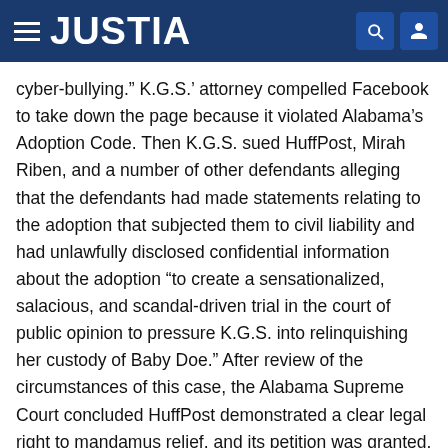JUSTIA
cyber-bullying.” K.G.S.’ attorney compelled Facebook to take down the page because it violated Alabama’s Adoption Code. Then K.G.S. sued HuffPost, Mirah Riben, and a number of other defendants alleging that the defendants had made statements relating to the adoption that subjected them to civil liability and had unlawfully disclosed confidential information about the adoption "to create a sensationalized, salacious, and scandal-driven trial in the court of public opinion to pressure K.G.S. into relinquishing her custody of Baby Doe." After review of the circumstances of this case, the Alabama Supreme Court concluded HuffPost demonstrated a clear legal right to mandamus relief, and its petition was granted. View "Ex parte The HuffingtonPost.com" on Justia Law